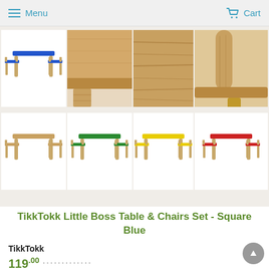Menu   Cart
[Figure (photo): Product image gallery showing TikkTokk Little Boss Table & Chairs Set in multiple colors and detail shots. Top row: blue table and chairs set, close-up of wooden table corner, close-up of wood grain surface, close-up of wooden chair leg. Bottom row: natural wood set, green set, yellow set, red set.]
TikkTokk Little Boss Table & Chairs Set - Square Blue
TikkTokk
119.00